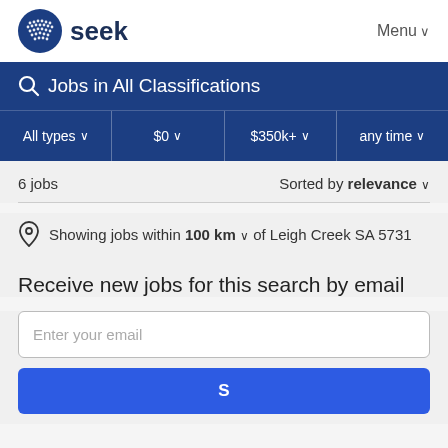seek  Menu
Jobs in All Classifications
All types  $0  $350k+  any time
6 jobs   Sorted by relevance
Showing jobs within 100 km of Leigh Creek SA 5731
Receive new jobs for this search by email
Enter your email